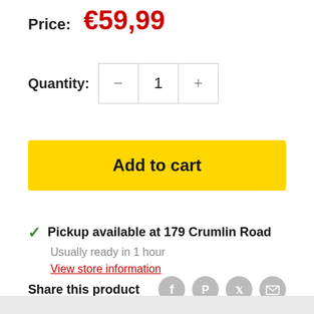Price: €59,99
Quantity: 1
Add to cart
Pickup available at 179 Crumlin Road
Usually ready in 1 hour
View store information
Share this product